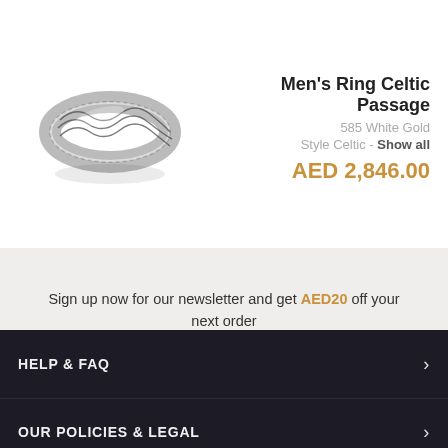[Figure (photo): Men's ring with Celtic interlace pattern in white gold, shown at a slight angle]
Men's Ring Celtic Passage
585 White Gold
Style Celtic - Show all
AED 2,846.00
Sign up now for our newsletter and get AED20 off your next order
enter your e-mail address
SUBSCRIBE
HELP & FAQ
OUR POLICIES & LEGAL
OUR SERVICES
ABOUT GLAMIRA
INFLUENCER AFFILIATE PROGRAM